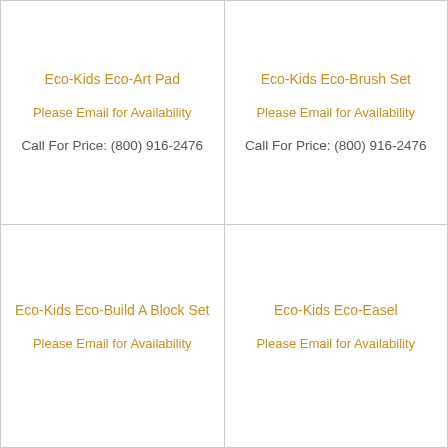Eco-Kids Eco-Art Pad
Please Email for Availability
Call For Price: (800) 916-2476
Eco-Kids Eco-Brush Set
Please Email for Availability
Call For Price: (800) 916-2476
Eco-Kids Eco-Build A Block Set
Please Email for Availability
Eco-Kids Eco-Easel
Please Email for Availability